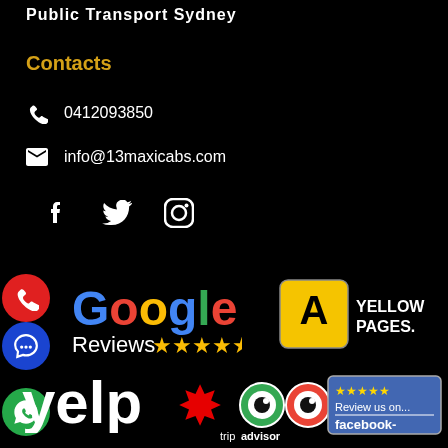Public Transport Sydney
Contacts
0412093850
info@13maxicabs.com
[Figure (logo): Social media icons: Facebook, Twitter, Instagram]
[Figure (logo): Google Reviews with 5 stars, Red phone circle, Blue chat circle]
[Figure (logo): Yellow Pages logo]
[Figure (logo): Yelp logo with green WhatsApp circle]
[Figure (logo): TripAdvisor logo]
[Figure (logo): Review us on Facebook badge, green chat circle]